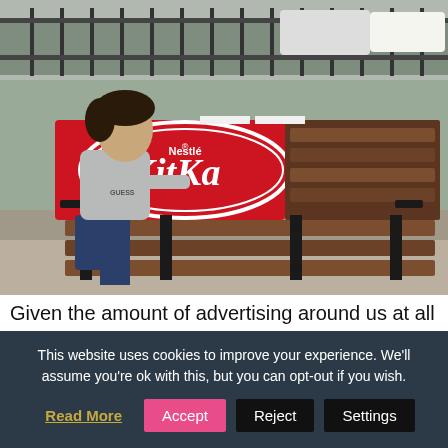[Figure (photo): A young man wearing a Guess t-shirt sits on a park bench that has been branded with a Nestlé KitKat advertisement. The bench is painted red and has the KitKat chocolate bar imagery on its back, transitioning to brown wooden slats on the right side. The setting appears to be an outdoor urban area.]
Given the amount of advertising around us at all times, it's hard to ...
This website uses cookies to improve your experience. We'll assume you're ok with this, but you can opt-out if you wish.
Read More
Accept
Reject
Settings